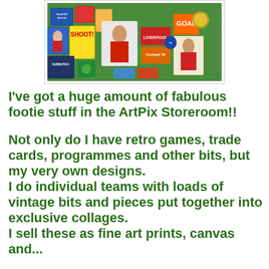[Figure (photo): A colorful collage of vintage football (soccer) memorabilia including trade cards, magazines, programmes, shirts, badges, and player portraits arranged on a green background.]
I've got a huge amount of fabulous footie stuff in the ArtPix Storeroom!!
Not only do I have retro games, trade cards, programmes and other bits, but my very own designs.
I do individual teams with loads of vintage bits and pieces put together into exclusive collages.
I sell these as fine art prints, canvas and...